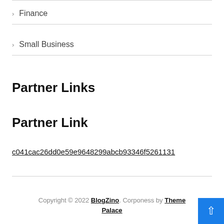> Finance
> Small Business
Partner Links
Partner Link
c041cac26dd0e59e9648299abcb93346f5261131
Copyright © 2022 BlogZino. Corponess by ThemePalace